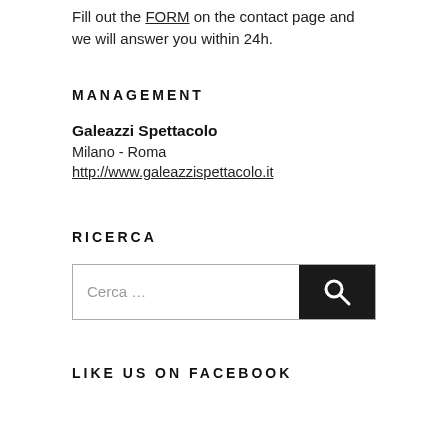Fill out the FORM on the contact page and we will answer you within 24h.
MANAGEMENT
Galeazzi Spettacolo
Milano - Roma
http://www.galeazzispettacolo.it
RICERCA
Cerca …
LIKE US ON FACEBOOK